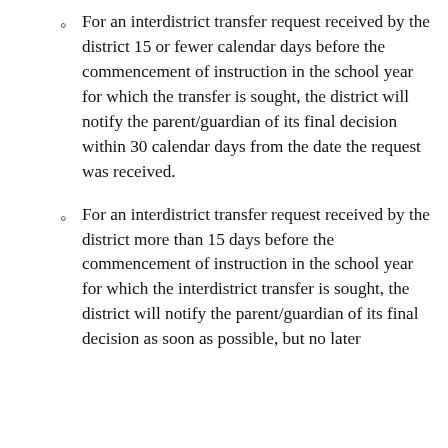For an interdistrict transfer request received by the district 15 or fewer calendar days before the commencement of instruction in the school year for which the transfer is sought, the district will notify the parent/guardian of its final decision within 30 calendar days from the date the request was received.
For an interdistrict transfer request received by the district more than 15 days before the commencement of instruction in the school year for which the interdistrict transfer is sought, the district will notify the parent/guardian of its final decision as soon as possible, but no later